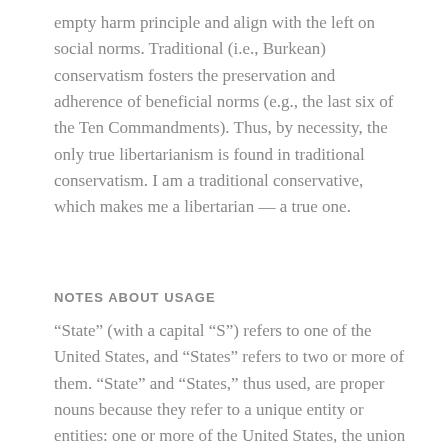empty harm principle and align with the left on social norms. Traditional (i.e., Burkean) conservatism fosters the preservation and adherence of beneficial norms (e.g., the last six of the Ten Commandments). Thus, by necessity, the only true libertarianism is found in traditional conservatism. I am a traditional conservative, which makes me a libertarian –– a true one.
NOTES ABOUT USAGE
“State” (with a capital “S”) refers to one of the United States, and “States” refers to two or more of them. “State” and “States,” thus used, are proper nouns because they refer to a unique entity or entities: one or more of the United States, the union